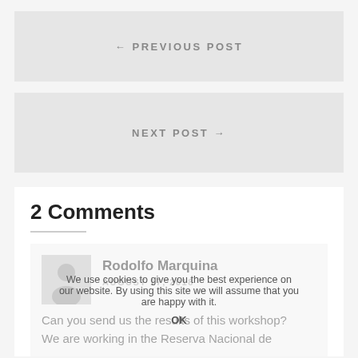← PREVIOUS POST
NEXT POST →
2 Comments
Rodolfo Marquina
AUGUST 17, 2018
Can you send us the results of this workshop? We are working in the Reserva Nacional de